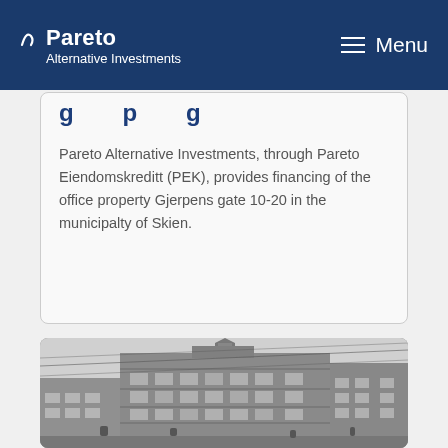Pareto Alternative Investments — Menu
...g...p...g...
Pareto Alternative Investments, through Pareto Eiendomskreditt (PEK), provides financing of the office property Gjerpens gate 10-20 in the municipalty of Skien.
[Figure (photo): Black and white photograph of a large ornate multi-story corner building (office/commercial property) with elaborate architectural details, taken from street level at an angle. Tram wires visible overhead. City street scene.]